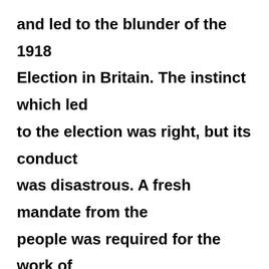and led to the blunder of the 1918 Election in Britain. The instinct which led to the election was right, but its conduct was disastrous. A fresh mandate from the people was required for the work of peacemaking and to continue, the war-time coalition of all parties; both worthy aims to tap the patriotism of the country. But for sitting MPs the test of patriotism